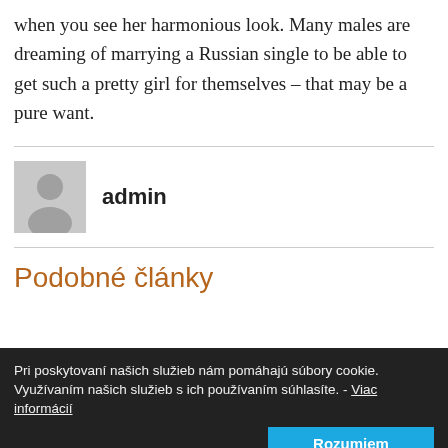when you see her harmonious look. Many males are dreaming of marrying a Russian single to be able to get such a pretty girl for themselves – that may be a pure want.
admin
Podobné články
Pri poskytovaní našich služieb nám pomáhajú súbory cookie. Využívaním našich služieb s ich používaním súhlasíte. - Viac informácií Rozumiem